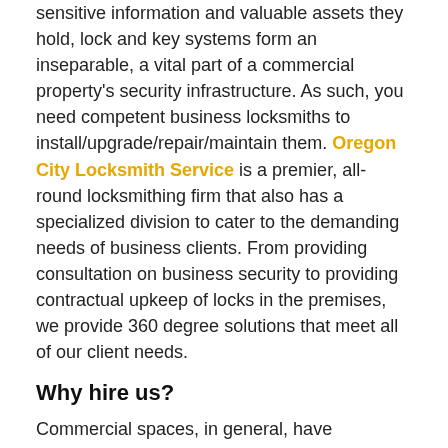sensitive information and valuable assets they hold, lock and key systems form an inseparable, a vital part of a commercial property's security infrastructure. As such, you need competent business locksmiths to install/upgrade/repair/maintain them. Oregon City Locksmith Service is a premier, all-round locksmithing firm that also has a specialized division to cater to the demanding needs of business clients. From providing consultation on business security to providing contractual upkeep of locks in the premises, we provide 360 degree solutions that meet all of our client needs.
Why hire us?
Commercial spaces, in general, have locksmithing needs that differ vastly from those needed at residential spaces. We understand how challenging it could get and go the extra mile to meet those challenges. All our professionals are trained locksmiths who've helped secure countless businesses, industries, institutions, offices, stores and more in Oregon City, OR area in the past. They also